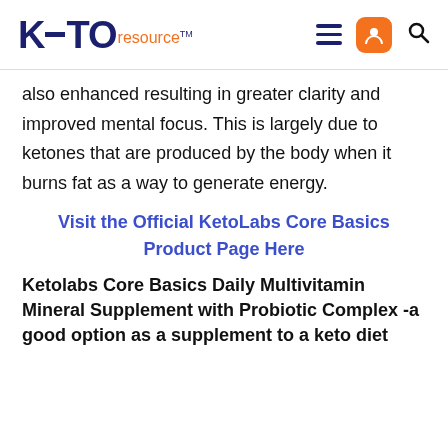KETO resource
also enhanced resulting in greater clarity and improved mental focus. This is largely due to ketones that are produced by the body when it burns fat as a way to generate energy.
Visit the Official KetoLabs Core Basics Product Page Here
Ketolabs Core Basics Daily Multivitamin Mineral Supplement with Probiotic Complex -a good option as a supplement to a keto diet